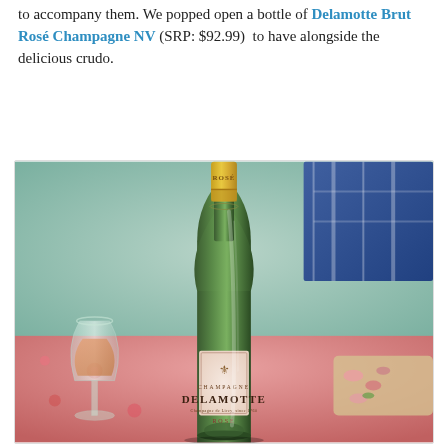to accompany them. We popped open a bottle of Delamotte Brut Rosé Champagne NV (SRP: $92.99) to have alongside the delicious crudo.
[Figure (photo): Photo of a green Delamotte Champagne bottle with a gold foil cap and pink label, next to a champagne glass filled with rosé champagne. In the background is a blurred blue fabric and a plate with food items. The bottle prominently shows the Delamotte Champagne label.]